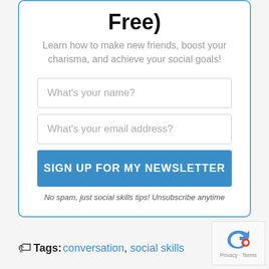Free)
Learn how to make new friends, boost your charisma, and achieve your social goals!
What's your name?
What's your email address?
SIGN UP FOR MY NEWSLETTER
No spam, just social skills tips! Unsubscribe anytime
Tags: conversation, social skills